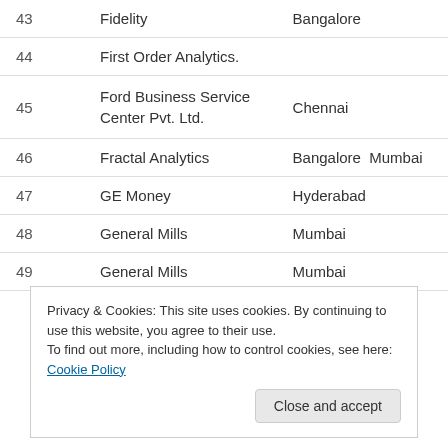| # | Company | Location |
| --- | --- | --- |
| 43 | Fidelity | Bangalore |
| 44 | First Order Analytics. |  |
| 45 | Ford Business Service Center Pvt. Ltd. | Chennai |
| 46 | Fractal Analytics | Bangalore   Mumbai |
| 47 | GE Money | Hyderabad |
| 48 | General Mills | Mumbai |
| 49 | General Mills | Mumbai |
Privacy & Cookies: This site uses cookies. By continuing to use this website, you agree to their use.
To find out more, including how to control cookies, see here: Cookie Policy